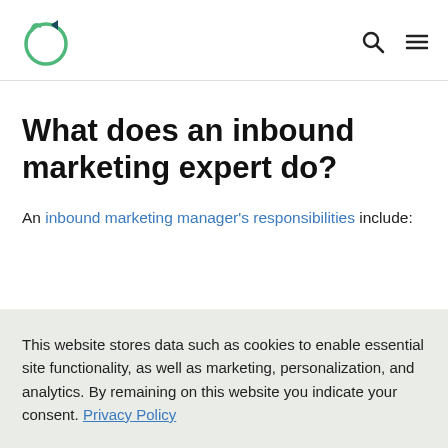[Logo: cat-shaped icon] [Search icon] [Menu icon]
What does an inbound marketing expert do?
An inbound marketing manager's responsibilities include:
This website stores data such as cookies to enable essential site functionality, as well as marketing, personalization, and analytics. By remaining on this website you indicate your consent. Privacy Policy